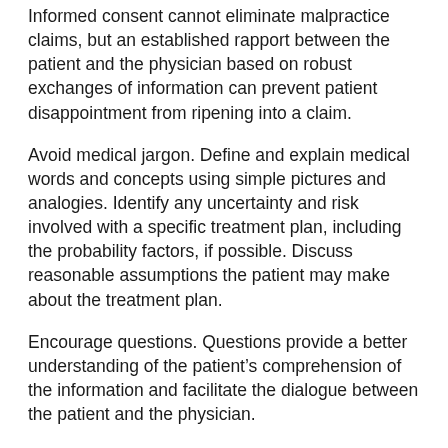Informed consent cannot eliminate malpractice claims, but an established rapport between the patient and the physician based on robust exchanges of information can prevent patient disappointment from ripening into a claim.
Avoid medical jargon. Define and explain medical words and concepts using simple pictures and analogies. Identify any uncertainty and risk involved with a specific treatment plan, including the probability factors, if possible. Discuss reasonable assumptions the patient may make about the treatment plan.
Encourage questions. Questions provide a better understanding of the patient’s comprehension of the information and facilitate the dialogue between the patient and the physician.
Documentation is another key component of the informed consent process that cannot be entirely delegated to a nurse or another member of the